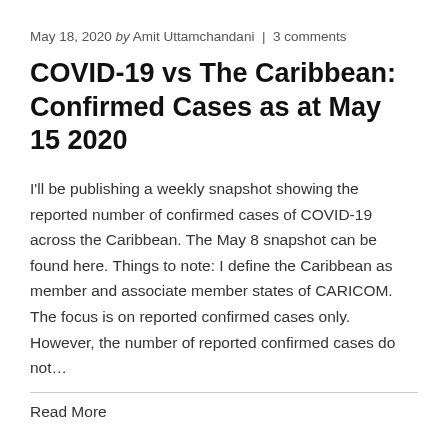May 18, 2020 by Amit Uttamchandani | 3 comments
COVID-19 vs The Caribbean: Confirmed Cases as at May 15 2020
I'll be publishing a weekly snapshot showing the reported number of confirmed cases of COVID-19 across the Caribbean. The May 8 snapshot can be found here. Things to note: I define the Caribbean as member and associate member states of CARICOM. The focus is on reported confirmed cases only. However, the number of reported confirmed cases do not…
Read More